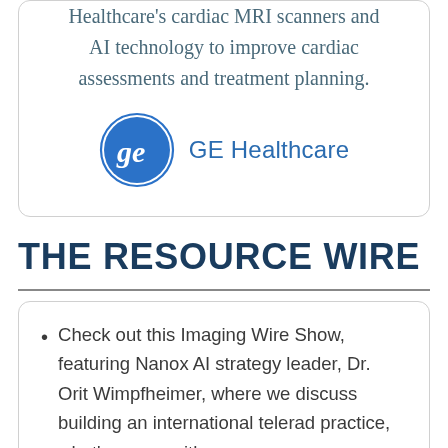Healthcare's cardiac MRI scanners and AI technology to improve cardiac assessments and treatment planning.
[Figure (logo): GE Healthcare logo — circular GE monogram in blue and white, followed by 'GE Healthcare' text in blue]
THE RESOURCE WIRE
Check out this Imaging Wire Show, featuring Nanox AI strategy leader, Dr. Orit Wimpfheimer, where we discuss building an international telerad practice, what's wrong with